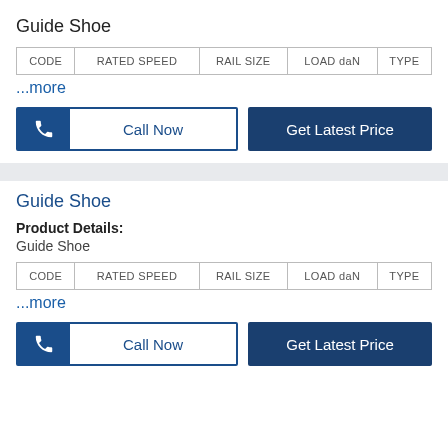Guide Shoe
| CODE | RATED SPEED | RAIL SIZE | LOAD daN | TYPE |
| --- | --- | --- | --- | --- |
...more
Guide Shoe
Product Details:
Guide Shoe
| CODE | RATED SPEED | RAIL SIZE | LOAD daN | TYPE |
| --- | --- | --- | --- | --- |